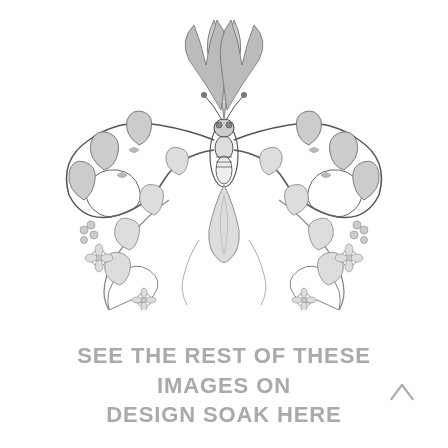[Figure (illustration): Detailed black and white baroque/ornate illustration of a butterfly or insect figure composed of elaborate scrolling acanthus leaves, feathers, and floral decorative elements in a symmetrical engraving style. Only the upper/top portion is visible, cropped at the bottom.]
SEE THE REST OF THESE IMAGES ON DESIGN SOAK HERE